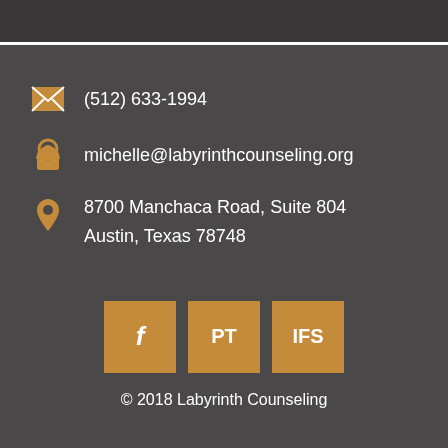(512) 633-1994
michelle@labyrinthcounseling.org
8700 Manchaca Road, Suite 804
Austin, Texas 78748
[Figure (other): Three social/link buttons: Facebook (f), PT, IFS — gold/amber colored square buttons]
© 2018 Labyrinth Counseling